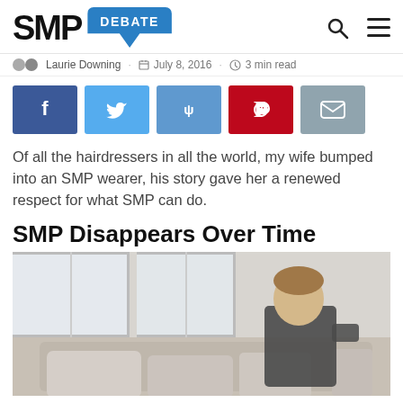SMP DEBATE
Laurie Downing · July 8, 2016 · 3 min read
[Figure (infographic): Social share buttons: Facebook, Twitter, Reddit, Pinterest, Email]
Of all the hairdressers in all the world, my wife bumped into an SMP wearer, his story gave her a renewed respect for what SMP can do.
SMP Disappears Over Time
[Figure (photo): A man sitting on a couch near a window, looking contemplative. The image is slightly muted/faded in tone.]